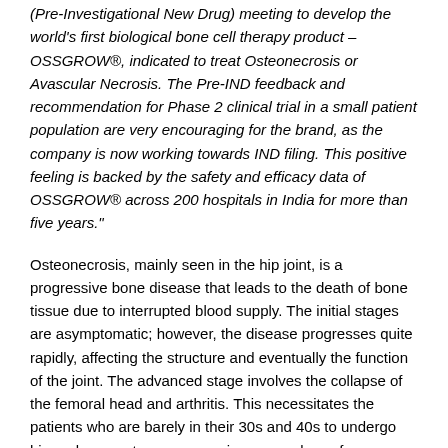(Pre-Investigational New Drug) meeting to develop the world's first biological bone cell therapy product – OSSGROW®, indicated to treat Osteonecrosis or Avascular Necrosis. The Pre-IND feedback and recommendation for Phase 2 clinical trial in a small patient population are very encouraging for the brand, as the company is now working towards IND filing. This positive feeling is backed by the safety and efficacy data of OSSGROW® across 200 hospitals in India for more than five years."
Osteonecrosis, mainly seen in the hip joint, is a progressive bone disease that leads to the death of bone tissue due to interrupted blood supply. The initial stages are asymptomatic; however, the disease progresses quite rapidly, affecting the structure and eventually the function of the joint. The advanced stage involves the collapse of the femoral head and arthritis. This necessitates the patients who are barely in their 30s and 40s to undergo hip replacement surgery causing severe loss of